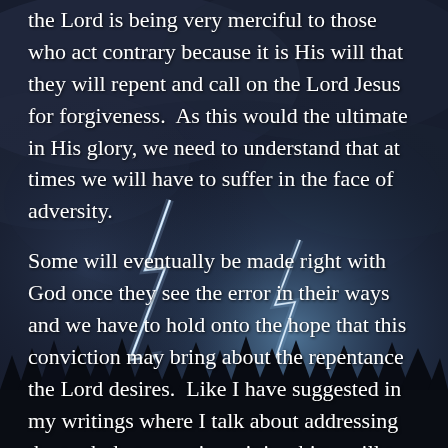[Figure (illustration): Dark stormy night sky with dramatic lightning bolts striking in the background, silhouettes of trees at the bottom]
the Lord is being very merciful to those who act contrary because it is His will that they will repent and call on the Lord Jesus for forgiveness.  As this would the ultimate in His glory, we need to understand that at times we will have to suffer in the face of adversity.
Some will eventually be made right with God once they see the error in their ways and we have to hold onto the hope that this conviction may bring about the repentance the Lord desires.  Like I have suggested in my writings where I talk about addressing the truth that sometimes it is a bitter pill to swallow but to the one who embraces they will